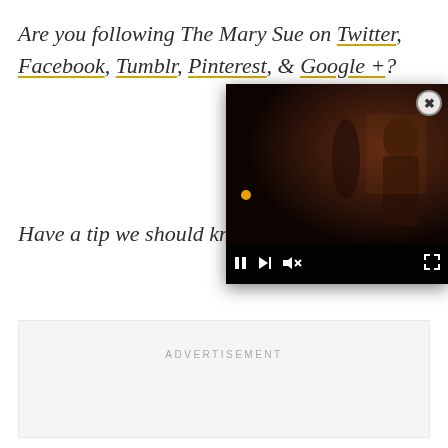Are you following The Mary Sue on Twitter, Facebook, Tumblr, Pinterest, & Google +?
Have a tip we should know?
[Figure (screenshot): Video player popup overlay showing a dark scene with a female figure, progress dot, and media controls (pause, skip, mute buttons) with a close button in the top right corner.]
ADVERTISEMENT